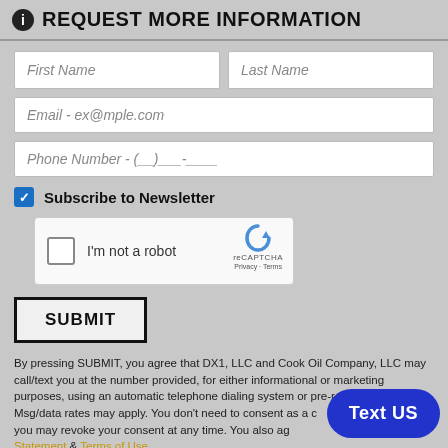REQUEST MORE INFORMATION
First Name
Last Name
Email - ex@mple.com
Phone Number - (__) ___-____
Subscribe to Newsletter
[Figure (screenshot): reCAPTCHA widget with checkbox labeled I'm not a robot]
SUBMIT
By pressing SUBMIT, you agree that DX1, LLC and Cook Oil Company, LLC may call/text you at the number provided, for either informational or marketing purposes, using an automatic telephone dialing system or pre-recorded voices. Msg/data rates may apply. You don't need to consent as a condition of purchase & you may revoke your consent at any time. You also agree to our Privacy Statement & Terms of Use.
Text US